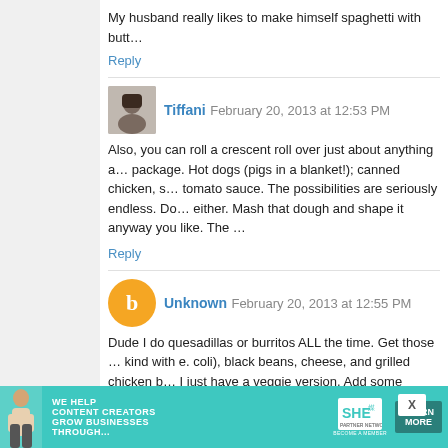My husband really likes to make himself spaghetti with butt…
Reply
Tiffani  February 20, 2013 at 12:53 PM
Also, you can roll a crescent roll over just about anything a… package. Hot dogs (pigs in a blanket!); canned chicken, s… tomato sauce. The possibilities are seriously endless. Do… either. Mash that dough and shape it anyway you like. The …
Reply
Unknown  February 20, 2013 at 12:55 PM
Dude I do quesadillas or burritos ALL the time. Get those … kind with e. coli), black beans, cheese, and grilled chicken b… I just have a veggie version. Add some cumin, lime juice, ga… george foreman grill, so I use that. You can also just use a… the quesadilla/burrito to get both sides all crunchy like.
Fave flavors:
- spinach and chicken
- black bean and guacamole
- spinach and black bean and mushroom
[Figure (infographic): Advertisement banner for SHE Media Partner Network: 'We help content creators grow businesses through…' with teal background and Learn More button]